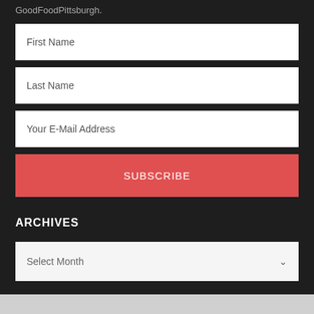GoodFoodPittsburgh.
First Name
Last Name
Your E-Mail Address
SUBSCRIBE
ARCHIVES
Select Month